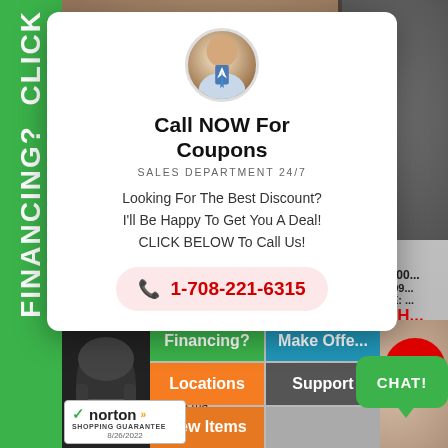[Figure (screenshot): Green vertical sidebar with text FINANCING? CLICK on the left side of the page]
[Figure (screenshot): Background product page showing Deluxe Reclining Massage chair with pricing]
Deluxe Reclining Massage
LIST PRICE: $2,499.95
REGULAR PRICE: $1,89...
Aug. 26th 9 HR.
You save $1,100.00!
Check out this Deluxe Re... ultimate in home massage... of your daily life in this ma...
[Figure (screenshot): Popup modal with avatar photo of man in suit, Call NOW For Coupons heading, phone number 1-708-221-6315]
Call NOW For Coupons
SALES DEPARTMENT 24/7
Looking For The Best Discount? I'll Be Happy To Get You A Deal! CLICK BELOW To Call Us!
1-708-221-6315
[Figure (screenshot): Bottom navigation buttons: Financing?, Make Offer, Locations, Support, New Items]
[Figure (logo): Norton Shopping Guarantee badge with checkmark, dated 8/26/2022]
[Figure (screenshot): Red circular close button with X]
CHAT!